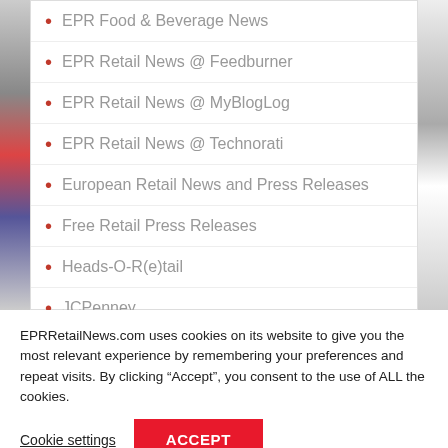EPR Food & Beverage News
EPR Retail News @ Feedburner
EPR Retail News @ MyBlogLog
EPR Retail News @ Technorati
European Retail News and Press Releases
Free Retail Press Releases
Heads-O-R(e)tail
JCPenney
EPRRetailNews.com uses cookies on its website to give you the most relevant experience by remembering your preferences and repeat visits. By clicking “Accept”, you consent to the use of ALL the cookies.
Cookie settings
ACCEPT